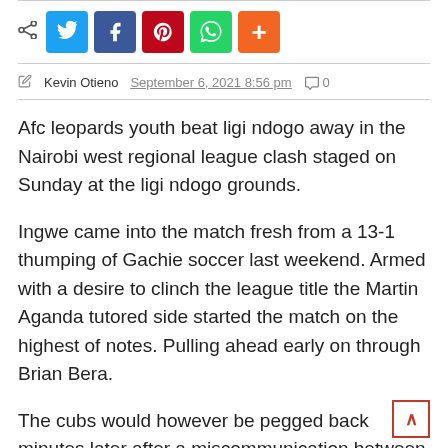[Figure (infographic): Social sharing bar with share icon and buttons for Twitter, Facebook, Pinterest, WhatsApp, and More (+)]
Kevin Otieno  September 6, 2021 8:56 pm  0
Afc leopards youth beat ligi ndogo away in the Nairobi west regional league clash staged on Sunday at the ligi ndogo grounds.
Ingwe came into the match fresh from a 13-1 thumping of Gachie soccer last weekend. Armed with a desire to clinch the league title the Martin Aganda tutored side started the match on the highest of notes. Pulling ahead early on through Brian Bera.
The cubs would however be pegged back minutes later after a miscommunication between Ingwe's custodian said muinde and his sweeper Zachariah Ochieng, led to the latter headin